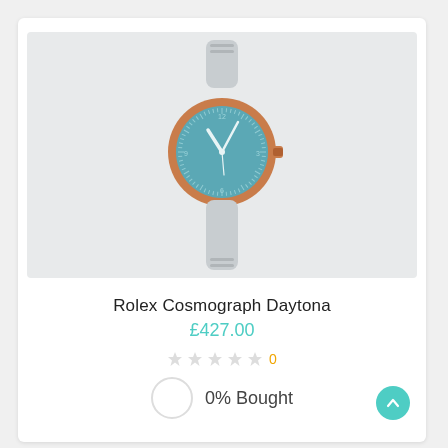[Figure (photo): Product photo of a Rolex Cosmograph Daytona watch with rose gold case, blue dial, and light gray leather strap on a light gray background]
Rolex Cosmograph Daytona
£427.00
★★★★★ 0
0% Bought